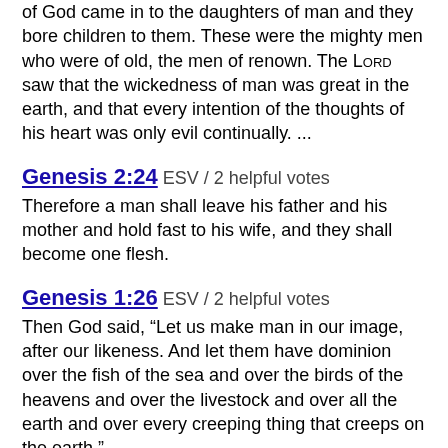of God came in to the daughters of man and they bore children to them. These were the mighty men who were of old, the men of renown. The LORD saw that the wickedness of man was great in the earth, and that every intention of the thoughts of his heart was only evil continually. ...
Genesis 2:24 ESV / 2 helpful votes
Therefore a man shall leave his father and his mother and hold fast to his wife, and they shall become one flesh.
Genesis 1:26 ESV / 2 helpful votes
Then God said, “Let us make man in our image, after our likeness. And let them have dominion over the fish of the sea and over the birds of the heavens and over the livestock and over all the earth and over every creeping thing that creeps on the earth.”
Genesis 1:1-31 ESV / 2 helpful votes
In the beginning, God created the heavens and the earth. The earth was without form and void, and darkness was over the face of the deep. And the Spirit of